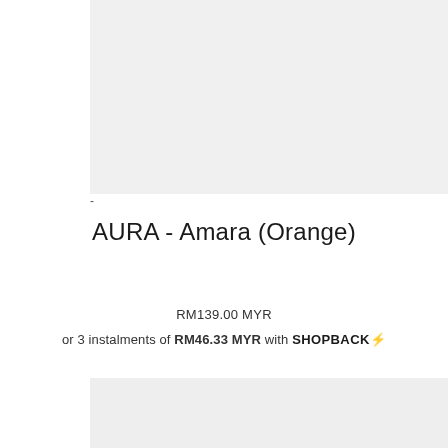[Figure (photo): Light gray placeholder image block at top of page]
AURA - Amara (Orange)
RM139.00 MYR
or 3 instalments of RM46.33 MYR with SHOPBACK⚡
[Figure (photo): Light gray placeholder image block at bottom of page]